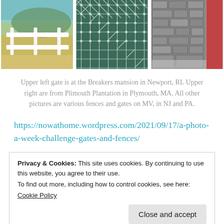[Figure (photo): Three fence/gate photos side by side: white wooden split-rail fence in a field, close-up of chain-link/wire mesh fence, stone wall fence with red building.]
Upper left gate is at the Breakers mansion in Newport, RI. Upper right are from Plimouth Plantation in Plymouth, MA. All other pictures are various fences and gates on MV, in NJ and PA.
https://nowathome.wordpress.com/2021/09/17/a-photo-a-week-challenge-gates-and-fences/
Privacy & Cookies: This site uses cookies. By continuing to use this website, you agree to their use.
To find out more, including how to control cookies, see here:
Cookie Policy

Close and accept
Newport, NJ. Photo A Week Challenge, Plimouth Plantation, Plymouth, MA | Permalink